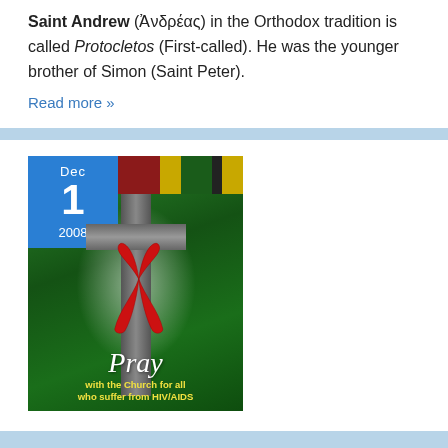Saint Andrew (Ἀνδρέας) in the Orthodox tradition is called Protocletos (First-called). He was the younger brother of Simon (Saint Peter).
Read more »
[Figure (illustration): Book or poster cover dated Dec 1 2008 with a cross, red AIDS ribbon on a green tropical background, African textile strip at top, with text 'Pray with the Church for all who suffer from HIV/AIDS']